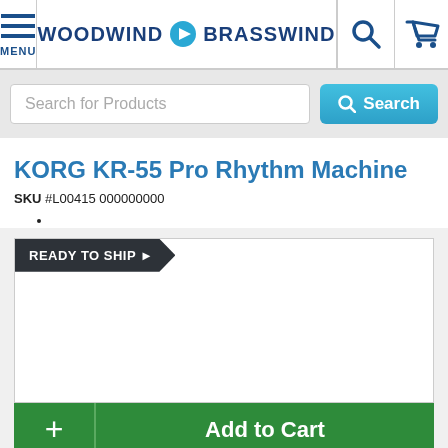WOODWIND & BRASSWIND — Menu, Search, Cart header
Search for Products
KORG KR-55 Pro Rhythm Machine
SKU #L00415 000000000
•
READY TO SHIP ▶
+ Add to Cart